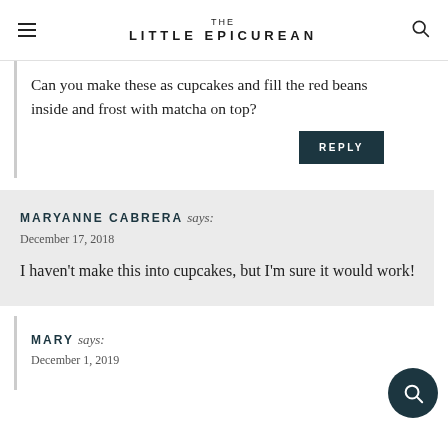THE LITTLE EPICUREAN
Can you make these as cupcakes and fill the red beans inside and frost with matcha on top?
MARYANNE CABRERA says:
December 17, 2018
I haven't make this into cupcakes, but I'm sure it would work!
MARY says:
December 1, 2019